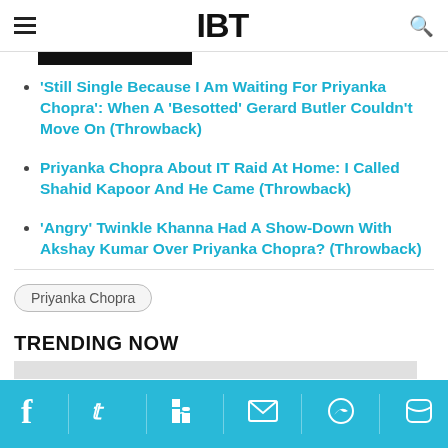IBT
'Still Single Because I Am Waiting For Priyanka Chopra': When A 'Besotted' Gerard Butler Couldn't Move On (Throwback)
Priyanka Chopra About IT Raid At Home: I Called Shahid Kapoor And He Came (Throwback)
'Angry' Twinkle Khanna Had A Show-Down With Akshay Kumar Over Priyanka Chopra? (Throwback)
Priyanka Chopra
TRENDING NOW
facebook twitter linkedin email messenger whatsapp